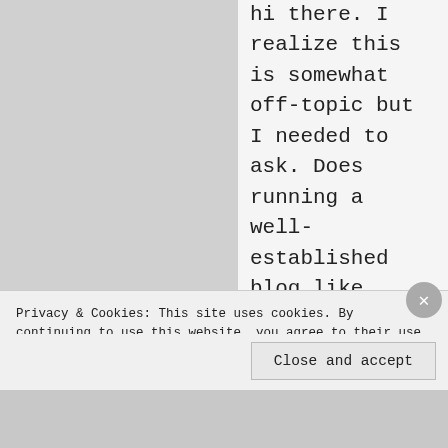hi there. I realize this is somewhat off-topic but I needed to ask. Does running a well-established blog like yours require a large amount of work?

I'm brand new to writing a blog but I do write in my journal every day. I'd like to start a blog so I can share my own
Privacy & Cookies: This site uses cookies. By continuing to use this website, you agree to their use. To find out more, including how to control cookies, see here: Cookie Policy
Close and accept